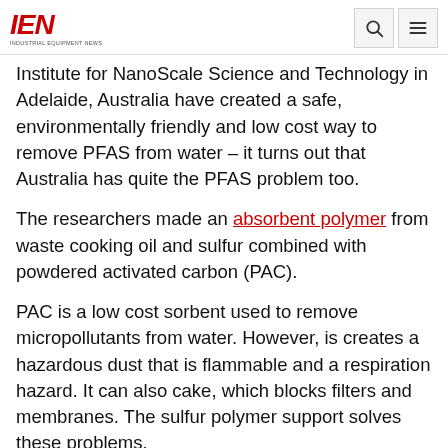IEN — INDUSTRIAL EQUIPMENT NEWS
Institute for NanoScale Science and Technology in Adelaide, Australia have created a safe, environmentally friendly and low cost way to remove PFAS from water – it turns out that Australia has quite the PFAS problem too.
The researchers made an absorbent polymer from waste cooking oil and sulfur combined with powdered activated carbon (PAC).
PAC is a low cost sorbent used to remove micropollutants from water. However, is creates a hazardous dust that is flammable and a respiration hazard. It can also cake, which blocks filters and membranes. The sulfur polymer support solves these problems.